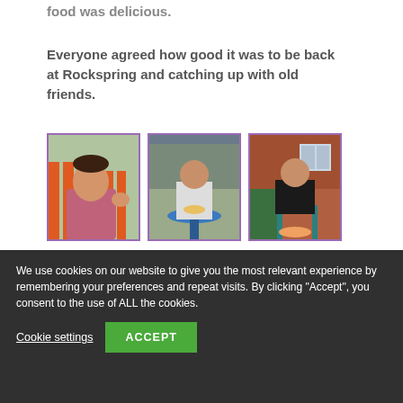food was delicious.
Everyone agreed how good it was to be back at Rockspring and catching up with old friends.
[Figure (photo): Three photos side by side: left photo shows a young man in a pink shirt waving in front of orange fence; middle photo shows a person sitting at a blue table outdoors eating; right photo shows a man in a black shirt sitting on a chair outside a brick building.]
We use cookies on our website to give you the most relevant experience by remembering your preferences and repeat visits. By clicking "Accept", you consent to the use of ALL the cookies.
Cookie settings
ACCEPT